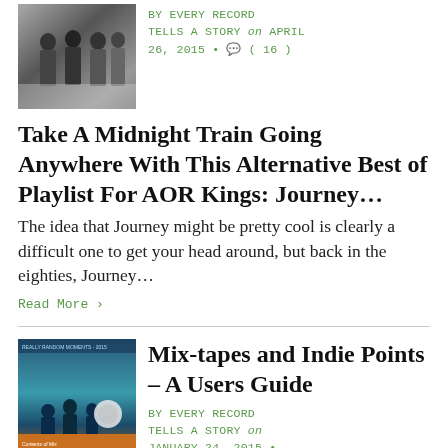[Figure (photo): Black and white photo of a group of people standing together]
BY EVERY RECORD TELLS A STORY on APRIL 26, 2015 • (16)
Take A Midnight Train Going Anywhere With This Alternative Best of Playlist For AOR Kings: Journey…
The idea that Journey might be pretty cool is clearly a difficult one to get your head around, but back in the eighties, Journey…
Read More ›
[Figure (photo): Colorful mix-tape or album cover with figures and teal/orange design]
Mix-tapes and Indie Points – A Users Guide
BY EVERY RECORD TELLS A STORY on JANUARY 24, 2015 •
(7)